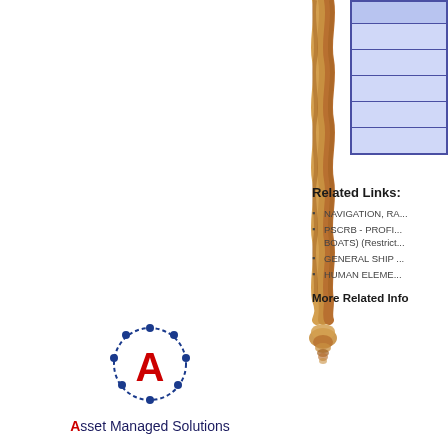[Figure (illustration): Partial view of a blue-striped table/form with light blue rows and dark blue borders in the top-right corner]
[Figure (illustration): A thick braided rope hanging vertically down the center-left of the page, ending in a tied knot at the bottom]
Related Links:
NAVIGATION, RA...
PSCRB - PROFI... BOATS) (Restrict...
GENERAL SHIP ...
HUMAN ELEME...
More Related Info
[Figure (logo): Asset Managed Solutions logo: circular dotted ring with letter A inside (blue ring, red A), with text 'Asset Managed Solutions' below]